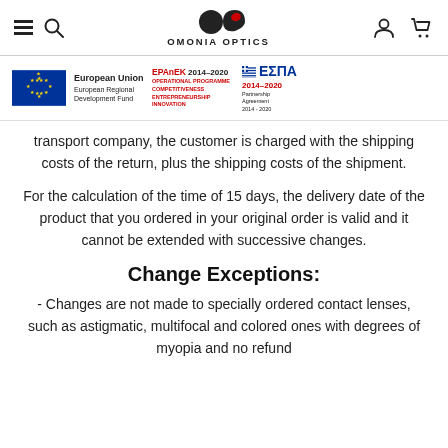OMONIA OPTICS — navigation bar with hamburger, search, logo, account, cart icons
[Figure (logo): EU funding banner showing European Union European Regional Development Fund logo, EPAnEK 2014-2020 Operational Programme Competitiveness Entrepreneurship Innovation, and ΕΣΠΑ 2014-2020 Partnership Agreement logos]
transport company, the customer is charged with the shipping costs of the return, plus the shipping costs of the shipment.
For the calculation of the time of 15 days, the delivery date of the product that you ordered in your original order is valid and it cannot be extended with successive changes.
Change Exceptions:
- Changes are not made to specially ordered contact lenses, such as astigmatic, multifocal and colored ones with degrees of myopia and no refund